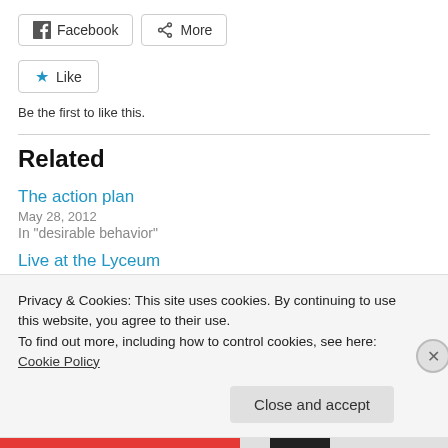[Figure (other): Social share buttons: Facebook and More]
[Figure (other): Like button with star icon]
Be the first to like this.
Related
The action plan
May 28, 2012
In "desirable behavior"
Live at the Lyceum
January 9, 2012
Privacy & Cookies: This site uses cookies. By continuing to use this website, you agree to their use.
To find out more, including how to control cookies, see here: Cookie Policy
Close and accept